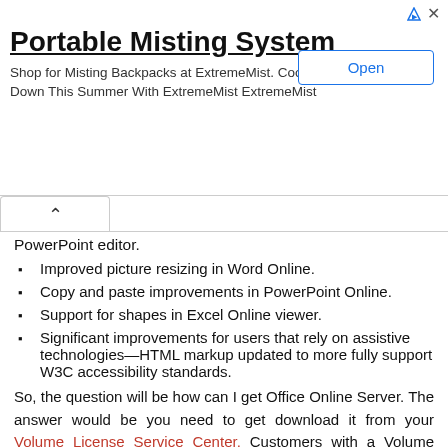[Figure (other): Advertisement banner for Portable Misting System by ExtremeMist with Open button]
PowerPoint editor.
Improved picture resizing in Word Online.
Copy and paste improvements in PowerPoint Online.
Support for shapes in Excel Online viewer.
Significant improvements for users that rely on assistive technologies—HTML markup updated to more fully support W3C accessibility standards.
So, the question will be how can I get Office Online Server. The answer would be you need to get download it from your Volume License Service Center. Customers with a Volume Licensing account can download Office Online Server from the Volume License Servicing Center at no cost and will have view-only functionality, which includes PowerPoint sharing in Skype for Business.